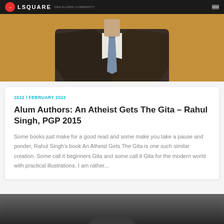LSQUARE
[Figure (photo): Person in dark suit and blue tie, upper body, cropped at chest level, warm tan/brown background]
2022 / FEBRUARY 2022
Alum Authors: An Atheist Gets The Gita – Rahul Singh, PGP 2015
Some books just make for a good read and some make you take a pause and ponder, Rahul Singh's book An Atheist Gets The Gita is one such similar creation. Some call it beginners Gita and some call it Gita for the modern world with practical illustrations. I am rather...
[Figure (photo): Partially visible photo at bottom of page, dark/grey tones, appears to show a person]